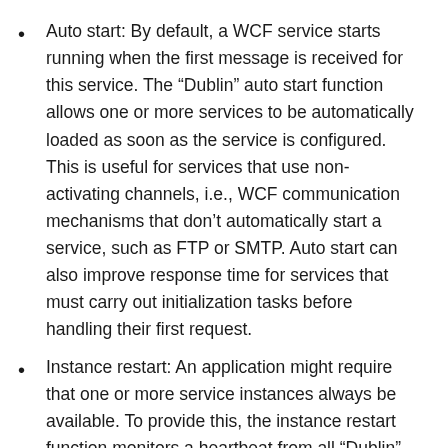Auto start: By default, a WCF service starts running when the first message is received for this service. The “Dublin” auto start function allows one or more services to be automatically loaded as soon as the service is configured. This is useful for services that use non-activating channels, i.e., WCF communication mechanisms that don’t automatically start a service, such as FTP or SMTP. Auto start can also improve response time for services that must carry out initialization tasks before handling their first request.
Instance restart: An application might require that one or more service instances always be available. To provide this, the instance restart function monitors a heartbeat from all “Dublin” services. Any service that doesn’t respond within the heartbeat expiration interval is automatically restarted. For a WF-based service, the workflow will resume from the last time its